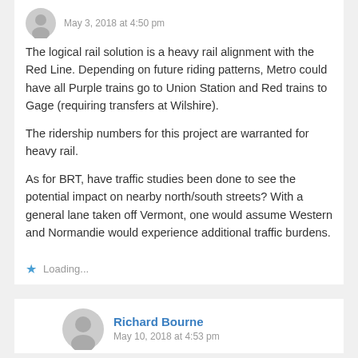May 3, 2018 at 4:50 pm
The logical rail solution is a heavy rail alignment with the Red Line. Depending on future riding patterns, Metro could have all Purple trains go to Union Station and Red trains to Gage (requiring transfers at Wilshire).
The ridership numbers for this project are warranted for heavy rail.
As for BRT, have traffic studies been done to see the potential impact on nearby north/south streets? With a general lane taken off Vermont, one would assume Western and Normandie would experience additional traffic burdens.
Loading...
Richard Bourne
May 10, 2018 at 4:53 pm